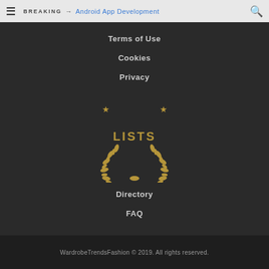BREAKING → Android App Development
Terms of Use
Cookies
Privacy
[Figure (logo): LISTS laurel wreath logo with two stars on top]
Directory
FAQ
WardrobeTrendsFashion © 2019. All rights reserved.